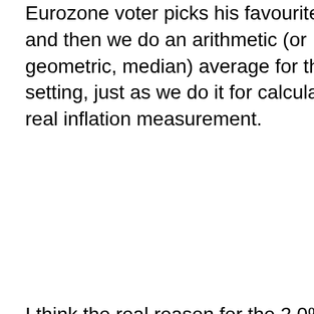Eurozone voter picks his favourite number and then we do an arithmetic (or geometric, median) average for the target setting, just as we do it for calculating the real inflation measurement.
I think the real reason for the 2.0% is, that most people in slowly moving countries in the EU accept mentally that 2% is "close enough to zero". Like credit card fees, in former times mutual fund fees. In the moment people do not accept it in this way any more, they implement automatic adjustments for wages, prices,